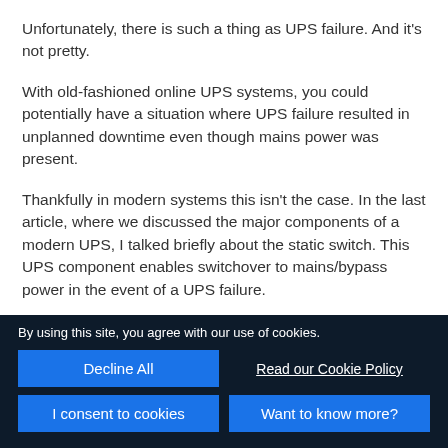Unfortunately, there is such a thing as UPS failure. And it's not pretty.
With old-fashioned online UPS systems, you could potentially have a situation where UPS failure resulted in unplanned downtime even though mains power was present.
Thankfully in modern systems this isn't the case. In the last article, where we discussed the major components of a modern UPS, I talked briefly about the static switch. This UPS component enables switchover to mains/bypass power in the event of a UPS failure.
By using this site, you agree with our use of cookies.
Decline All
Read our Cookie Policy
I consent to cookies
Want to know more?